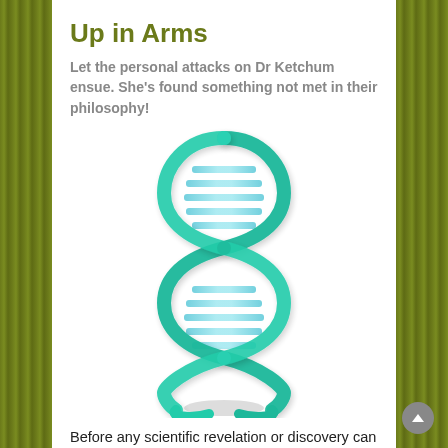Up in Arms
Let the personal attacks on Dr Ketchum ensue. She's found something not met in their philosophy!
[Figure (illustration): A 3D rendered image of a DNA double helix structure in teal/green colors with horizontal rungs connecting the two spiral strands, shown against a white background.]
Before any scientific revelation or discovery can be proclaimed as fact, it has to go to peer